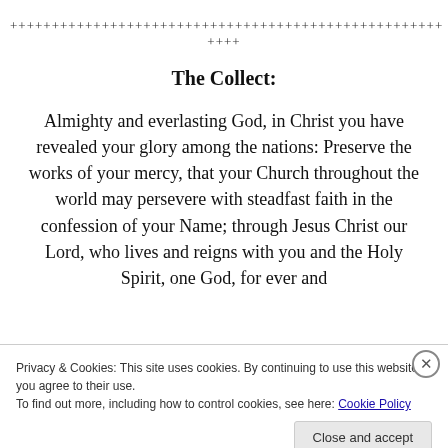++++++++++++++++++++++++++++++++++++++++++++++++++
++++
The Collect:
Almighty and everlasting God, in Christ you have revealed your glory among the nations: Preserve the works of your mercy, that your Church throughout the world may persevere with steadfast faith in the confession of your Name; through Jesus Christ our Lord, who lives and reigns with you and the Holy Spirit, one God, for ever and
Privacy & Cookies: This site uses cookies. By continuing to use this website, you agree to their use.
To find out more, including how to control cookies, see here: Cookie Policy
Close and accept